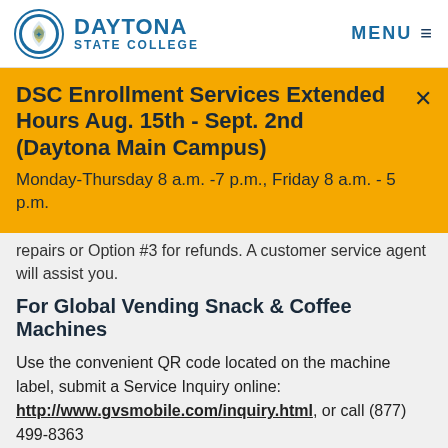DAYTONA STATE COLLEGE | MENU
DSC Enrollment Services Extended Hours Aug. 15th - Sept. 2nd (Daytona Main Campus)
Monday-Thursday 8 a.m. -7 p.m., Friday 8 a.m. - 5 p.m.
repairs or Option #3 for refunds. A customer service agent will assist you.
For Global Vending Snack & Coffee Machines
Use the convenient QR code located on the machine label, submit a Service Inquiry online: http://www.gvsmobile.com/inquiry.html, or call (877) 499-8363